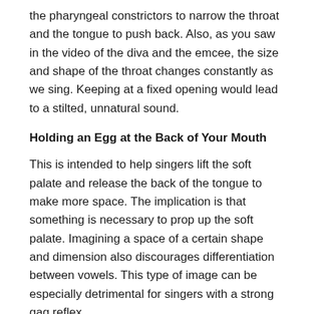the pharyngeal constrictors to narrow the throat and the tongue to push back. Also, as you saw in the video of the diva and the emcee, the size and shape of the throat changes constantly as we sing. Keeping at a fixed opening would lead to a stilted, unnatural sound.
Holding an Egg at the Back of Your Mouth
This is intended to help singers lift the soft palate and release the back of the tongue to make more space. The implication is that something is necessary to prop up the soft palate. Imagining a space of a certain shape and dimension also discourages differentiation between vowels. This type of image can be especially detrimental for singers with a strong gag reflex.
Placement in the Mask